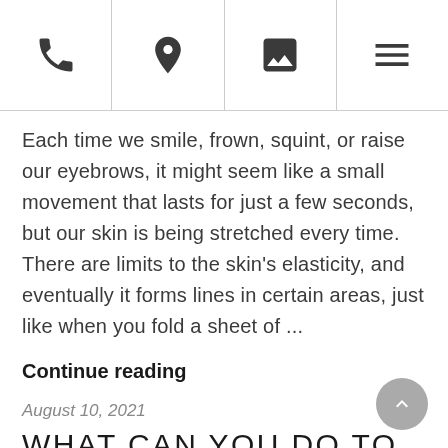[Navigation bar with phone, location, image, and menu icons]
Each time we smile, frown, squint, or raise our eyebrows, it might seem like a small movement that lasts for just a few seconds, but our skin is being stretched every time. There are limits to the skin's elasticity, and eventually it forms lines in certain areas, just like when you fold a sheet of ...
Continue reading
August 10, 2021
WHAT CAN YOU DO TO STOP EXPRESSION WRINKLES?